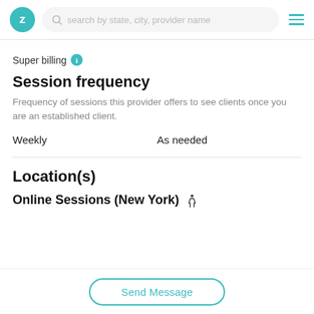Z — search by state, city, provider name
Super billing
Session frequency
Frequency of sessions this provider offers to see clients once you are an established client.
Weekly    As needed
Location(s)
Online Sessions (New York) ♿
Send Message